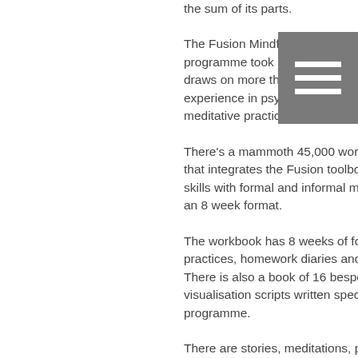[Figure (other): Grey hamburger menu icon with three horizontal white lines on a grey background, positioned top right]
the sum of its parts.

The Fusion Mindfulness Based Mind Management programme took me over a year to write but actually draws on more than two decades of professional experience in psychotherapy, coaching, teaching and meditative practice.

There's a mammoth 45,000 word, 330 page workbook that integrates the Fusion toolbox of mind management skills with formal and informal mindfulness practices in an 8 week format.

The workbook has 8 weeks of formal and informal practices, homework diaries and reflective journals. There is also a book of 16 bespoke meditations and visualisation scripts written specifically to support the programme.

There are stories, meditations, practice logs and reflective journals to embed the learning.